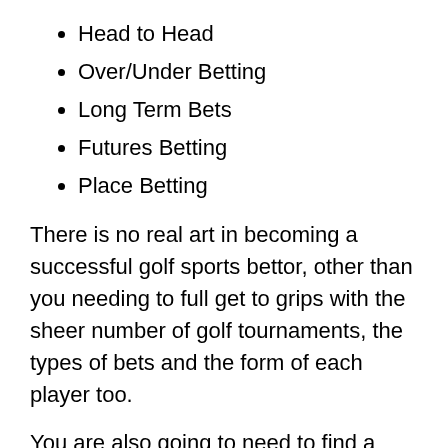Head to Head
Over/Under Betting
Long Term Bets
Futures Betting
Place Betting
There is no real art in becoming a successful golf sports bettor, other than you needing to full get to grips with the sheer number of golf tournaments, the types of bets and the form of each player too.
You are also going to need to find a bookmaker that will be offering you more than enough golf relate betting markets and the best odds too, and you will not go too far wrong by signing up to the 12Bet betting site, so make sure that is something you do.